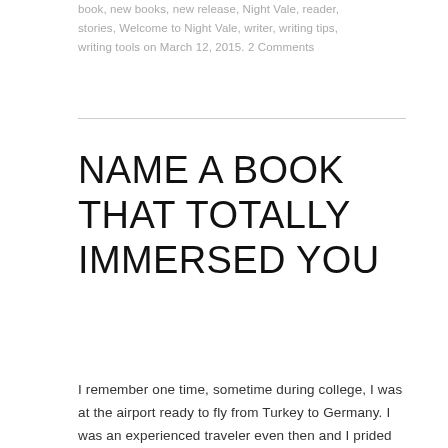book, new books, new release, Night Vale, reader, stories, Welcome to Night Vale, writer, writing tips, writing tools on March 12, 2015. 2 Comments
NAME A BOOK THAT TOTALLY IMMERSED YOU
I remember one time, sometime during college, I was at the airport ready to fly from Turkey to Germany. I was an experienced traveler even then and I prided myself on it. I arrived at the gate well ahead of time, everything neatly packed in one small bag, boarding pass ready. I picked a seat,